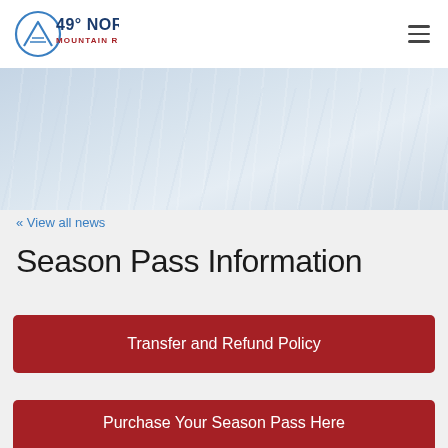[Figure (logo): 49° North Mountain Resort logo — circular mountain/ski graphic with text '49° NORTH MOUNTAIN RESORT']
[Figure (photo): Wide snowy ski slope / snow surface hero banner image, light blue-grey tones]
« View all news
Season Pass Information
Transfer and Refund Policy
Purchase Your Season Pass Here